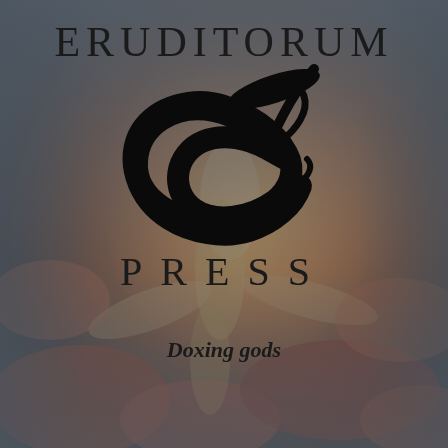[Figure (logo): Eruditorum Press logo page with a classical figure painting (William Blake style) in the background — a figure falling/diving with arms outstretched amid clouds and flames. Overlaid with the 'EP' stylized calligraphic monogram logo in black. Text reads ERUDITORUM at top, PRESS below the monogram, and 'Doxing gods' in bold italic at the bottom.]